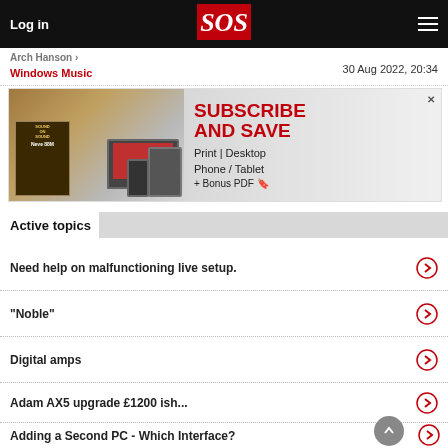Log in | SOS | menu
Arch Hanson | Windows Music | 30 Aug 2022, 20:34
[Figure (infographic): Sound On Sound magazine subscription advertisement banner showing magazine cover with Neve 88M, laptop, phone, tablet devices, and text: SUBSCRIBE AND SAVE Print | Desktop Phone / Tablet + Bonus PDF]
Active topics
Need help on malfunctioning live setup.
"Noble"
Digital amps
Adam AX5 upgrade £1200 ish...
Adding a Second PC - Which Interface?